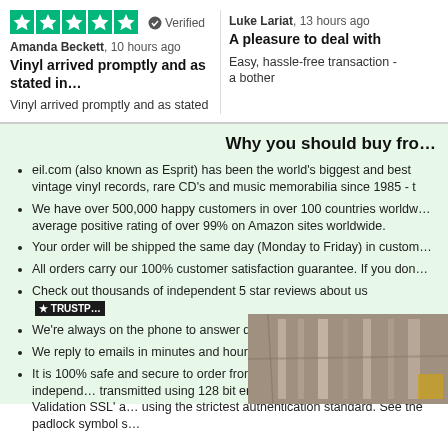[Figure (other): Five green Trustpilot stars with Verified badge]
Amanda Beckett, 10 hours ago
Vinyl arrived promptly and as stated in…
Vinyl arrived promptly and as stated
Luke Lariat, 13 hours ago
A pleasure to deal with
Easy, hassle-free transaction - a bother
Why you should buy fro…
eil.com (also known as Esprit) has been the world's biggest and best vintage vinyl records, rare CD's and music memorabilia since 1985 - t
We have over 500,000 happy customers in over 100 countries worldw… average positive rating of over 99% on Amazon sites worldwide.
Your order will be shipped the same day (Monday to Friday) in custom…
All orders carry our 100% customer satisfaction guarantee. If you don…
Check out thousands of independent 5 star reviews about us [TRUSTPILOT]
We're always on the phone to answer questions and help with any or…
We reply to emails in minutes and hours, not days.
It is 100% safe and secure to order from us as we have been independ… transmitted using 128 bit encryption with 'Extended Validation SSL' a… using the strictest authentication standard. See the padlock symbol s…
[Figure (photo): Photo of cardboard packaging/vinyl records in storage]